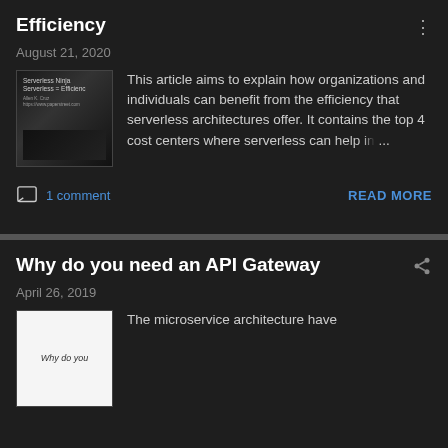Efficiency
August 21, 2020
[Figure (screenshot): Thumbnail image of Serverless Ninja Serverless = Efficiency article cover]
This article aims to explain how organizations and individuals can benefit from the efficiency that serverless architectures offer. It contains the top 4 cost centers where serverless can help in ...
1 comment
READ MORE
Why do you need an API Gateway
April 26, 2019
[Figure (screenshot): Thumbnail image of Why do you need an API Gateway article]
The microservice architecture have